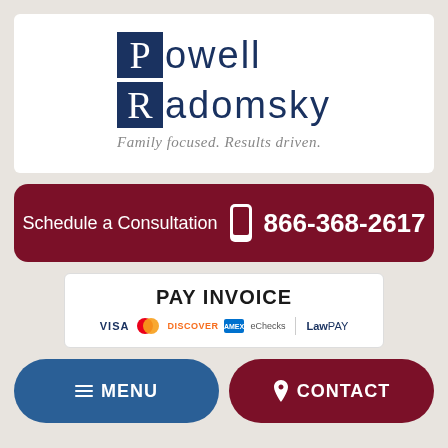[Figure (logo): Powell Radomsky law firm logo with dark navy block letters P and R in boxes, tagline: Family focused. Results driven.]
Schedule a Consultation  866-368-2617
PAY INVOICE
VISA  Mastercard  DISCOVER  AMEX  eChecks  |  LawPay
MENU
CONTACT